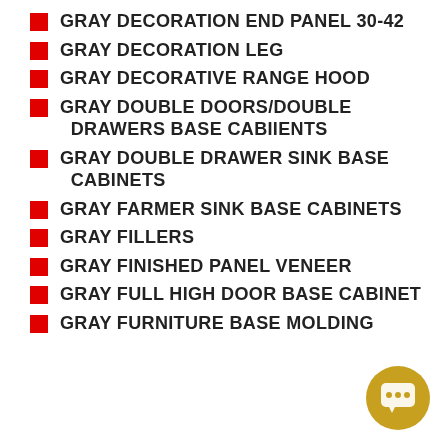GRAY DECORATION END PANEL 30-42
GRAY DECORATION LEG
GRAY DECORATIVE RANGE HOOD
GRAY DOUBLE DOORS/DOUBLE DRAWERS BASE CABIIENTS
GRAY DOUBLE DRAWER SINK BASE CABINETS
GRAY FARMER SINK BASE CABINETS
GRAY FILLERS
GRAY FINISHED PANEL VENEER
GRAY FULL HIGH DOOR BASE CABINET
GRAY FURNITURE BASE MOLDING